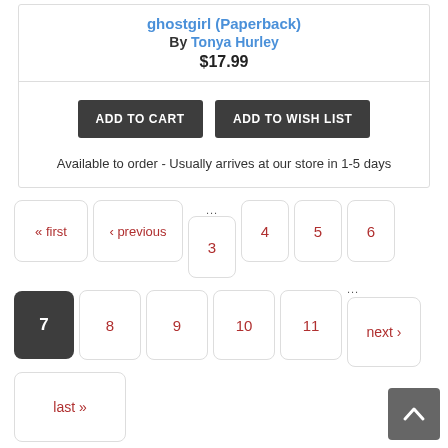ghostgirl (Paperback)
By Tonya Hurley
$17.99
ADD TO CART
ADD TO WISH LIST
Available to order - Usually arrives at our store in 1-5 days
« first ‹ previous ... 3 4 5 6
7 8 9 10 11 ... next ›
last »